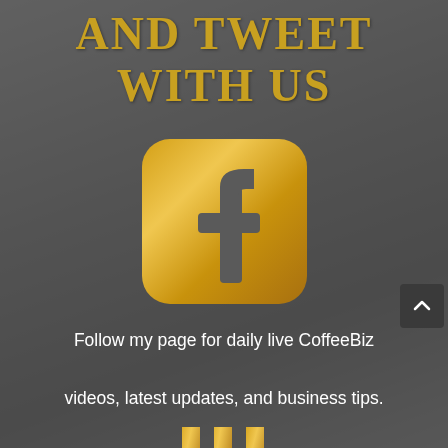AND TWEET WITH US
[Figure (logo): Gold Facebook icon — rounded square with gold gradient background and dark grey 'f' letterform]
Follow my page for daily live CoffeeBiz videos, latest updates, and business tips.
[Figure (logo): Gold Twitter/social media icon — partially visible at bottom of page]